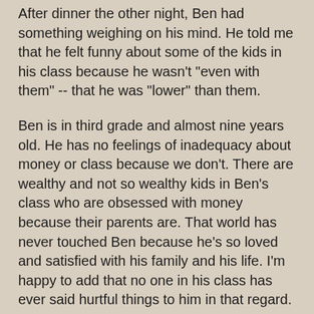After dinner the other night, Ben had something weighing on his mind. He told me that he felt funny about some of the kids in his class because he wasn't "even with them" -- that he was "lower" than them.
Ben is in third grade and almost nine years old. He has no feelings of inadequacy about money or class because we don't. There are wealthy and not so wealthy kids in Ben's class who are obsessed with money because their parents are. That world has never touched Ben because he's so loved and satisfied with his family and his life. I'm happy to add that no one in his class has ever said hurtful things to him in that regard.
But last week they went to the Tenement Museum and I suppose some children were aghast at the thought of living in such a small space. Our apartment isn't much more than 450 square feet - but it's provided Ben with 1 million square feet of happiness.
He said he thought it wasn't fair that some kids live in big big houses and other kids didn't. I explained to him that life is